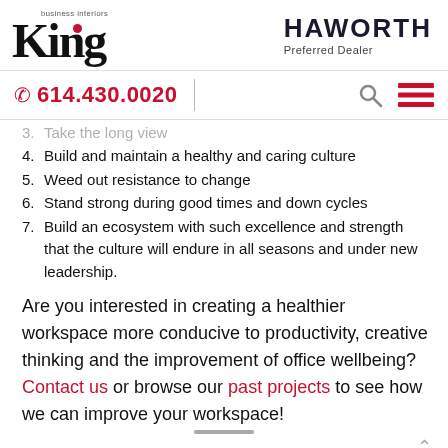King Business Interiors | HAWORTH Preferred Dealer | 614.430.0020
3. Take the long view
4. Build and maintain a healthy and caring culture
5. Weed out resistance to change
6. Stand strong during good times and down cycles
7. Build an ecosystem with such excellence and strength that the culture will endure in all seasons and under new leadership.
Are you interested in creating a healthier workspace more conducive to productivity, creative thinking and the improvement of office wellbeing? Contact us or browse our past projects to see how we can improve your workspace!